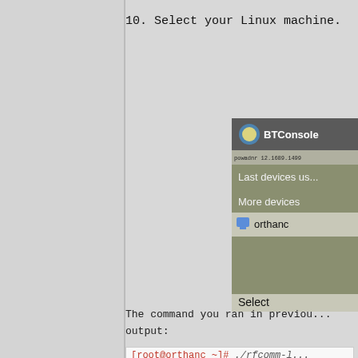10. Select your Linux machine.
[Figure (screenshot): BTConsole application dialog showing a list of Bluetooth devices. The dialog has a title bar with a Python logo and 'BTConsole' text, a URL bar, menu items 'Last devices us...' and 'More devices', a device entry 'orthanc' with a computer icon, and a 'Select' button at the bottom.]
The command you ran in previou...
output:
[root@orthanc ~]# ./rfcomm-l...
Serial Port service regist...